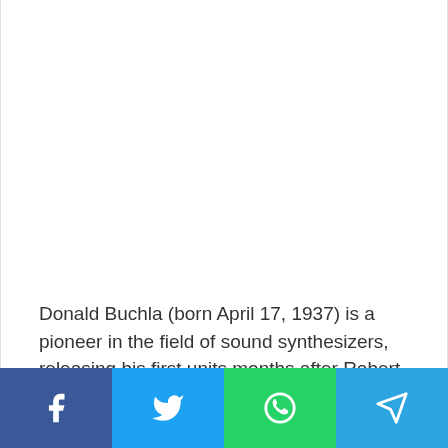Donald Buchla (born April 17, 1937) is a pioneer in the field of sound synthesizers, releasing his first units months after Robert Moog's first synthesizers. However, his instrument was arguably designed before Moog's.
[Figure (other): Social sharing bar with four buttons: Facebook (blue), Twitter (light blue), WhatsApp (green), Telegram (blue)]